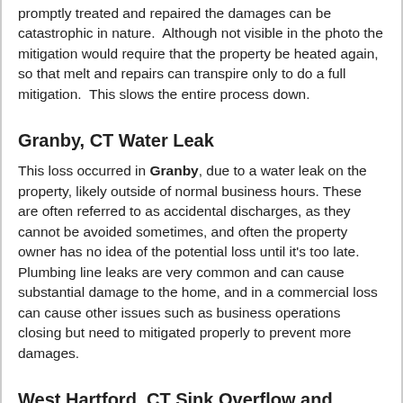promptly treated and repaired the damages can be catastrophic in nature.  Although not visible in the photo the mitigation would require that the property be heated again, so that melt and repairs can transpire only to do a full mitigation.  This slows the entire process down.
Granby, CT Water Leak
This loss occurred in Granby, due to a water leak on the property, likely outside of normal business hours.  These are often referred to as accidental discharges, as they cannot be avoided sometimes, and often the property owner has no idea of the potential loss until it's too late.  Plumbing line leaks are very common and can cause substantial damage to the home, and in a commercial loss can cause other issues such as business operations closing but need to mitigated properly to prevent more damages.
West Hartford, CT Sink Overflow and Collateral Damage
This loss occurred in...